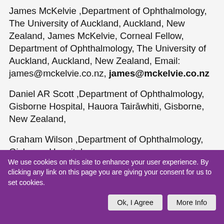James McKelvie ,Department of Ophthalmology, The University of Auckland, Auckland, New Zealand, James McKelvie, Corneal Fellow, Department of Ophthalmology, The University of Auckland, Auckland, New Zealand, Email: james@mckelvie.co.nz, james@mckelvie.co.nz
Daniel AR Scott ,Department of Ophthalmology, Gisborne Hospital, Hauora Tairāwhiti, Gisborne, New Zealand,
Graham Wilson ,Department of Ophthalmology, Gisborne Hospital,
We use cookies on this site to enhance your user experience. By clicking any link on this page you are giving your consent for us to set cookies.